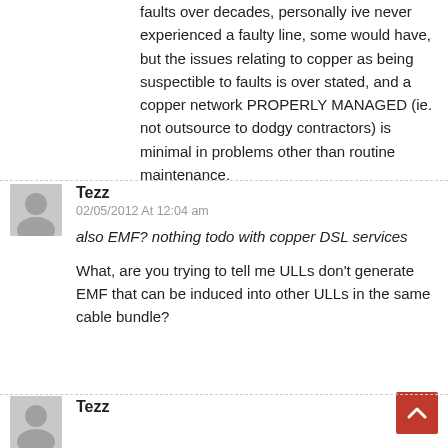faults over decades, personally ive never experienced a faulty line, some would have, but the issues relating to copper as being suspectible to faults is over stated, and a copper network PROPERLY MANAGED (ie. not outsource to dodgy contractors) is minimal in problems other than routine maintenance.
Tezz
02/05/2012 At 12:04 am
also EMF? nothing todo with copper DSL services
What, are you trying to tell me ULLs don't generate EMF that can be induced into other ULLs in the same cable bundle?
Tezz